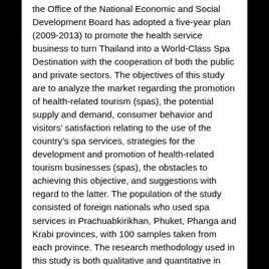the Office of the National Economic and Social Development Board has adopted a five-year plan (2009-2013) to promote the health service business to turn Thailand into a World-Class Spa Destination with the cooperation of both the public and private sectors. The objectives of this study are to analyze the market regarding the promotion of health-related tourism (spas), the potential supply and demand, consumer behavior and visitors' satisfaction relating to the use of the country's spa services, strategies for the development and promotion of health-related tourism businesses (spas), the obstacles to achieving this objective, and suggestions with regard to the latter. The population of the study consisted of foreign nationals who used spa services in Prachuabkirikhan, Phuket, Phanga and Krabi provinces, with 100 samples taken from each province. The research methodology used in this study is both qualitative and quantitative in nature, in addition to which a descriptive approach was also adopted. The results demonstrate that, although spas were relatively well known among foreign tourists during 1993-1994, the spa business has enjoyed a boom from 2001 down to the present. The study analyzed both